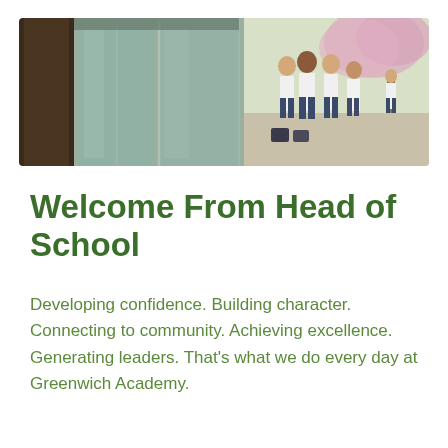[Figure (photo): School entrance photo showing students in white shirts walking outside a building with glass doors, cherry blossoms visible in the background]
Welcome From Head of School
Developing confidence. Building character. Connecting to community. Achieving excellence. Generating leaders. That’s what we do every day at Greenwich Academy.